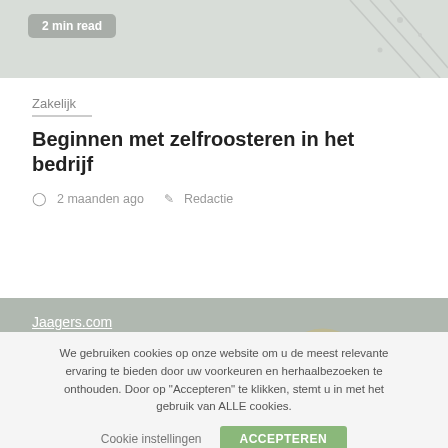[Figure (photo): Decorative background image, light gray with subtle pattern, with a '2 min read' badge in top left]
Zakelijk
Beginnen met zelfroosteren in het bedrijf
2 maanden ago   Redactie
Jaagers.com
nieuwe website laten maken
Sedat Horuz
We gebruiken cookies op onze website om u de meest relevante ervaring te bieden door uw voorkeuren en herhaalbezoeken te onthouden. Door op "Accepteren" te klikken, stemt u in met het gebruik van ALLE cookies.
Cookie instellingen   ACCEPTEREN